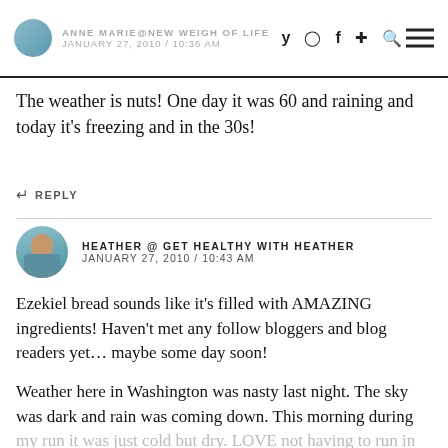ANNE MARIE@NEW WEIGH OF LIFE JANUARY 27, 2010 / 10:36 AM
The weather is nuts! One day it was 60 and raining and today it's freezing and in the 30s!
REPLY
HEATHER @ GET HEALTHY WITH HEATHER JANUARY 27, 2010 / 10:43 AM
Ezekiel bread sounds like it's filled with AMAZING ingredients! Haven't met any follow bloggers and blog readers yet… maybe some day soon!
Weather here in Washington was nasty last night. The sky was dark and rain was coming down. This morning during my run it was just cold but dry. LOVE not having to run in the rain.